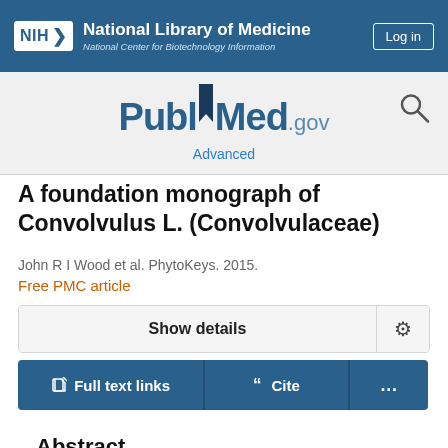NIH National Library of Medicine National Center for Biotechnology Information | Log in
[Figure (logo): PubMed.gov logo with search icon and Advanced link]
A foundation monograph of Convolvulus L. (Convolvulaceae)
John R I Wood et al. PhytoKeys. 2015.
Free PMC article
Show details
Full text links | Cite | ...
Abstract